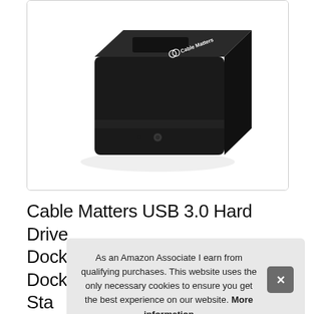[Figure (photo): Black Cable Matters USB hard drive docking station product photo on white background. The device is a black rectangular docking station with the Cable Matters logo/branding visible on the top-front surface.]
Cable Matters USB 3.0 Hard Drive Docking Station USB to SATA Docking Sta... 2.5... Ca... USB C Computer...
As an Amazon Associate I earn from qualifying purchases. This website uses the only necessary cookies to ensure you get the best experience on our website. More information